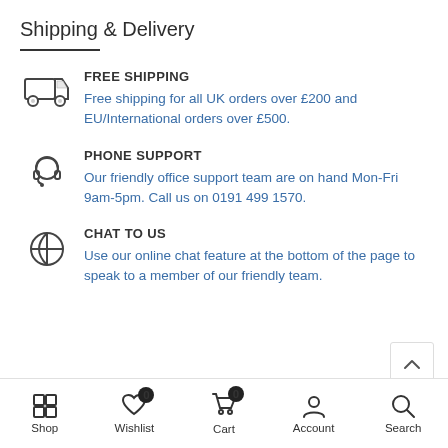Shipping & Delivery
FREE SHIPPING
Free shipping for all UK orders over £200 and EU/International orders over £500.
PHONE SUPPORT
Our friendly office support team are on hand Mon-Fri 9am-5pm. Call us on 0191 499 1570.
CHAT TO US
Use our online chat feature at the bottom of the page to speak to a member of our friendly team.
Shop  Wishlist  Cart  Account  Search